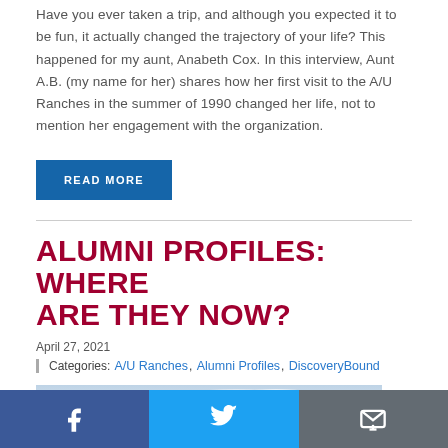Have you ever taken a trip, and although you expected it to be fun, it actually changed the trajectory of your life? This happened for my aunt, Anabeth Cox. In this interview, Aunt A.B. (my name for her) shares how her first visit to the A/U Ranches in the summer of 1990 changed her life, not to mention her engagement with the organization.
READ MORE
ALUMNI PROFILES: WHERE ARE THEY NOW?
April 27, 2021
Categories: A/U Ranches, Alumni Profiles, DiscoveryBound
[Figure (photo): Landscape photo showing a wide sky with clouds, partially visible at bottom of page]